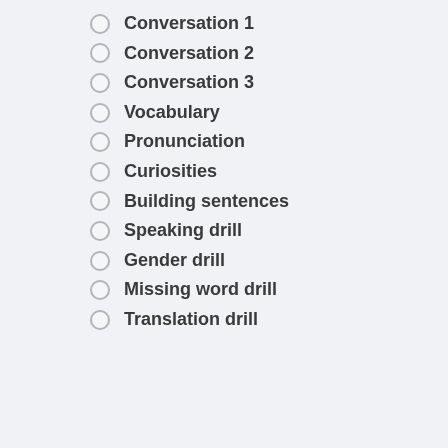Conversation 1
Conversation 2
Conversation 3
Vocabulary
Pronunciation
Curiosities
Building sentences
Speaking drill
Gender drill
Missing word drill
Translation drill